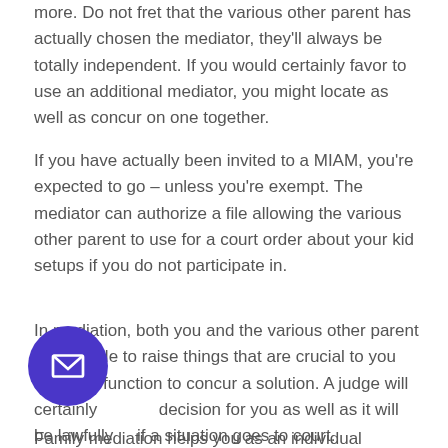more. Do not fret that the various other parent has actually chosen the mediator, they'll always be totally independent. If you would certainly favor to use an additional mediator, you might locate as well as concur on one together.
If you have actually been invited to a MIAM, you're expected to go – unless you're exempt. The mediator can authorize a file allowing the various other parent to use for a court order about your kid setups if you do not participate in.
In mediation, both you and the various other parent will be able to raise things that are crucial to you and also function to concur a solution. A judge will certainly decision for you as well as it will be lawfully if a situation goes to court.
Family mediation helps you as an individual competitive...